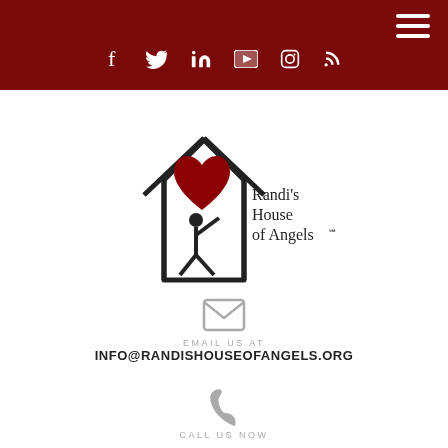Navigation bar with social icons: Facebook, Twitter, LinkedIn, YouTube, Instagram, RSS
[Figure (logo): Randi's House of Angels logo: house outline with a red heart and a person figure inside, with text 'Randi's House of Angels℠']
EMAIL US AT
INFO@RANDISHOUSEOFANGELS.ORG
CALL US NOW